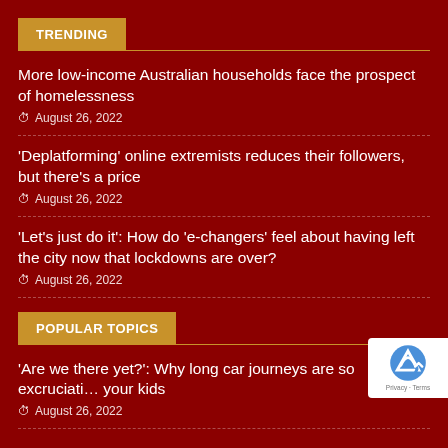TRENDING
More low-income Australian households face the prospect of homelessness
August 26, 2022
'Deplatforming' online extremists reduces their followers, but there's a price
August 26, 2022
'Let's just do it': How do 'e-changers' feel about having left the city now that lockdowns are over?
August 26, 2022
POPULAR TOPICS
'Are we there yet?': Why long car journeys are so excruciati… your kids
August 26, 2022